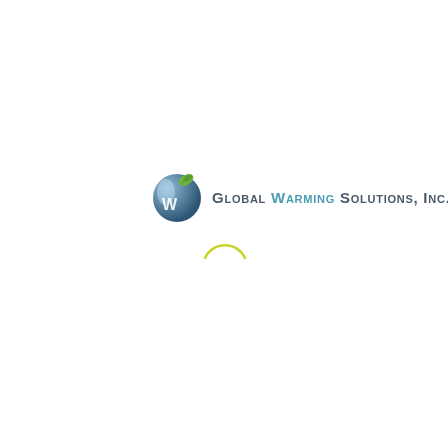[Figure (logo): Global Warming Solutions, Inc. logo with circular globe icon featuring a green leaf and white W letter, alongside company name text in dark gray and teal colors]
[Figure (other): Yellow-green arc/spinner loading indicator]